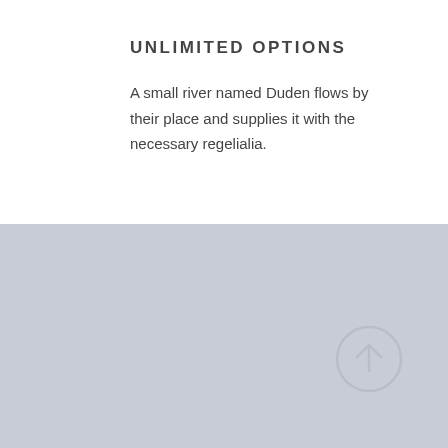UNLIMITED OPTIONS
A small river named Duden flows by their place and supplies it with the necessary regelialia.
[Figure (illustration): Light grey background section filling the bottom half of the page, with a circular arrow-up button icon in the lower right area.]